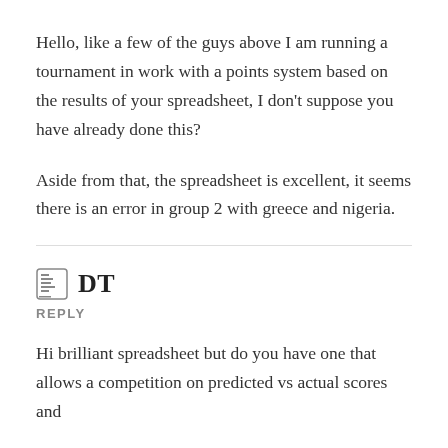Hello, like a few of the guys above I am running a tournament in work with a points system based on the results of your spreadsheet, I don't suppose you have already done this?
Aside from that, the spreadsheet is excellent, it seems there is an error in group 2 with greece and nigeria.
DT
REPLY
Hi brilliant spreadsheet but do you have one that allows a competition on predicted vs actual scores and calculates points and a winner at the end of the world cup to person with most results correct finale t...